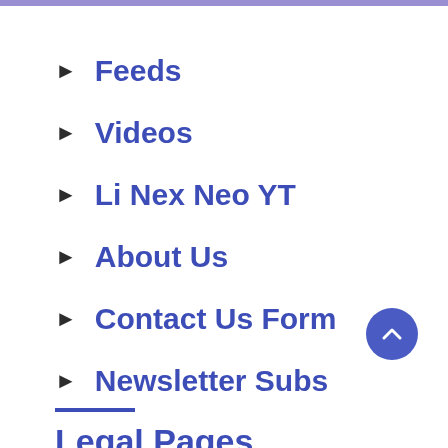Feeds
Videos
Li Nex Neo YT
About Us
Contact Us Form
Newsletter Subs
Legal Pages